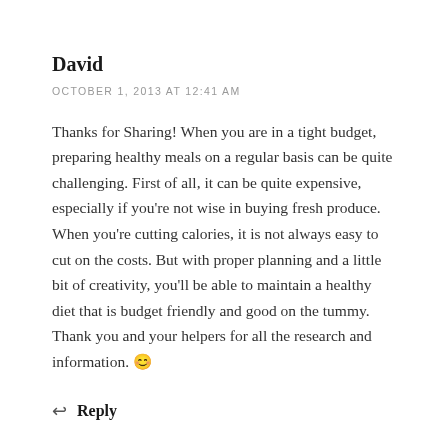David
OCTOBER 1, 2013 AT 12:41 AM
Thanks for Sharing! When you are in a tight budget, preparing healthy meals on a regular basis can be quite challenging. First of all, it can be quite expensive, especially if you're not wise in buying fresh produce. When you're cutting calories, it is not always easy to cut on the costs. But with proper planning and a little bit of creativity, you'll be able to maintain a healthy diet that is budget friendly and good on the tummy. Thank you and your helpers for all the research and information. 😊
↩ Reply